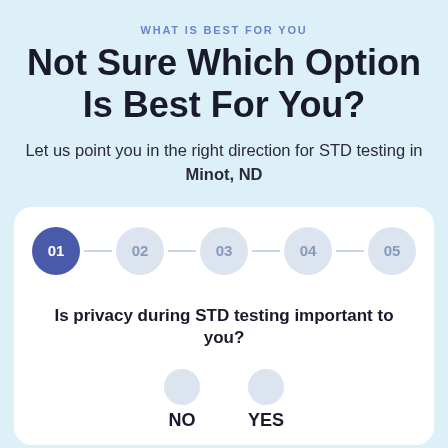WHAT IS BEST FOR YOU
Not Sure Which Option Is Best For You?
Let us point you in the right direction for STD testing in Minot, ND
[Figure (infographic): Step progress indicator with 5 numbered circles (01 through 05). Step 01 is active (dark blue), steps 02-05 are inactive (light gray). Connected by horizontal lines.]
Is privacy during STD testing important to you?
NO   YES